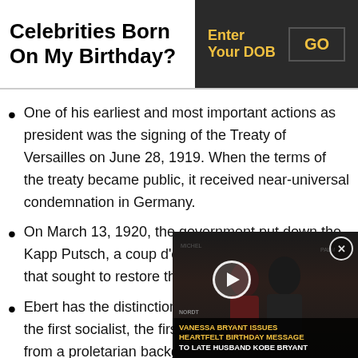Celebrities Born On My Birthday?
One of his earliest and most important actions as president was the signing of the Treaty of Versailles on June 28, 1919. When the terms of the treaty became public, it received near-universal condemnation in Germany.
On March 13, 1920, the government put down the Kapp Putsch, a coup d'état by radical nationalists that sought to restore the monarchy.
Ebert has the distinction of being the first socialist, the first ci... from a proletarian backgrou...
[Figure (screenshot): Video overlay popup showing two people at an event with text 'VANESSA BRYANT ISSUES HEARTFELT BIRTHDAY MESSAGE TO LATE HUSBAND KOBE BRYANT' and a play button. Sponsor logos visible including Volvo and Nordstrom.]